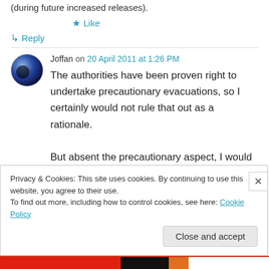(during future increased releases).
★ Like
↳ Reply
Joffan on 20 April 2011 at 1:26 PM
The authorities have been proven right to undertake precautionary evacuations, so I certainly would not rule that out as a rationale.

But absent the precautionary aspect, I would
Privacy & Cookies: This site uses cookies. By continuing to use this website, you agree to their use.
To find out more, including how to control cookies, see here: Cookie Policy
Close and accept